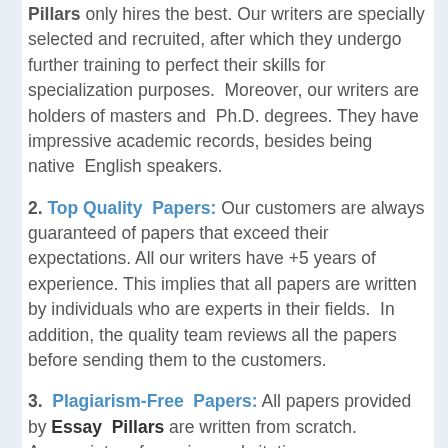Pillars only hires the best. Our writers are specially selected and recruited, after which they undergo further training to perfect their skills for specialization purposes. Moreover, our writers are holders of masters and Ph.D. degrees. They have impressive academic records, besides being native English speakers.
2. Top Quality Papers: Our customers are always guaranteed of papers that exceed their expectations. All our writers have +5 years of experience. This implies that all papers are written by individuals who are experts in their fields. In addition, the quality team reviews all the papers before sending them to the customers.
3. Plagiarism-Free Papers: All papers provided by Essay Pillars are written from scratch. Appropriate referencing and citation